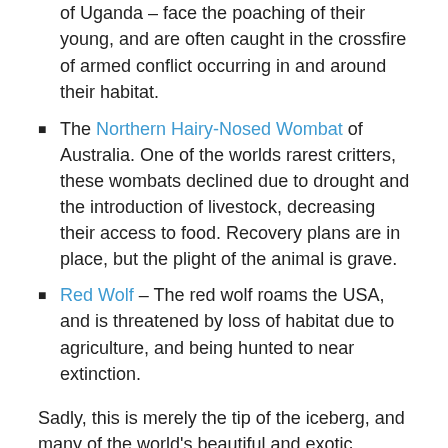of Uganda – face the poaching of their young, and are often caught in the crossfire of armed conflict occurring in and around their habitat.
The Northern Hairy-Nosed Wombat of Australia. One of the worlds rarest critters, these wombats declined due to drought and the introduction of livestock, decreasing their access to food. Recovery plans are in place, but the plight of the animal is grave.
Red Wolf – The red wolf roams the USA, and is threatened by loss of habitat due to agriculture, and being hunted to near extinction.
Sadly, this is merely the tip of the iceberg, and many of the world's beautiful and exotic creatures are in imminent danger of slipping away forever. Just to think that in my lifetime we may bid adieu to the majestic tiger, is a terrible thought. And it's not only animals who are heading for